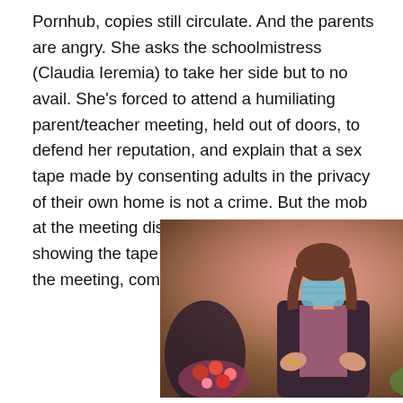Pornhub, copies still circulate. And the parents are angry. She asks the schoolmistress (Claudia Ieremia) to take her side but to no avail. She's forced to attend a humiliating parent/teacher meeting, held out of doors, to defend her reputation, and explain that a sex tape made by consenting adults in the privacy of their own home is not a crime. But the mob at the meeting disagrees. They insist on showing the tape again right in front of her at the meeting, complete with lewd
[Figure (photo): A person with long wavy hair wearing a surgical/medical face mask and a dark blazer, gesturing with both hands palms-up, surrounded by colorful flowers, in front of an ornate interior background.]